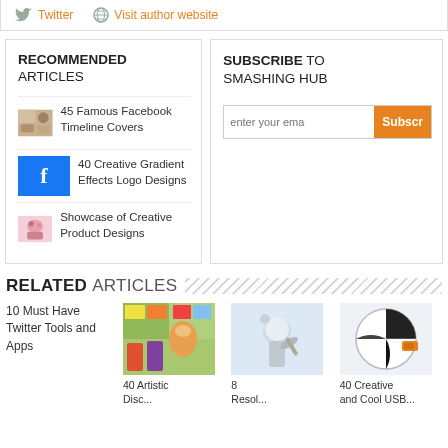Twitter   Visit author website
RECOMMENDED ARTICLES
45 Famous Facebook Timeline Covers
40 Creative Gradient Effects Logo Designs
Showcase of Creative Product Designs
SUBSCRIBE TO SMASHING HUB
enter your email   Subscr
RELATED ARTICLES
10 Must Have Twitter Tools and Apps
40 Artistic...
8 Resol...
40 Creative and Cool USB...